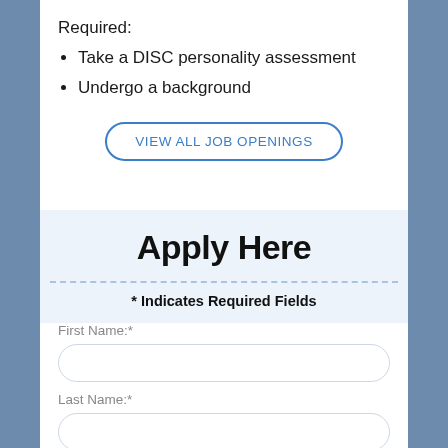Required:
Take a DISC personality assessment
Undergo a background
VIEW ALL JOB OPENINGS
Apply Here
* Indicates Required Fields
First Name:*
Last Name:*
Email:*